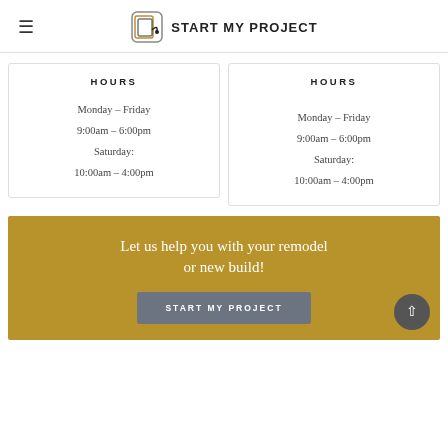≡  START MY PROJECT
HOURS
Monday – Friday
9:00am – 6:00pm
Saturday:
10:00am – 4:00pm
HOURS
Monday – Friday
9:00am – 6:00pm
Saturday:
10:00am – 4:00pm
Let us help you with your remodel or new build!
START MY PROJECT